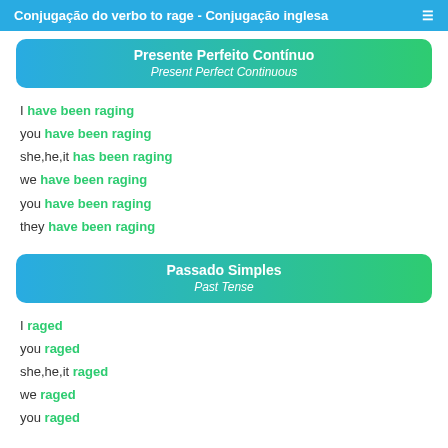Conjugação do verbo to rage - Conjugação inglesa
Presente Perfeito Contínuo
Present Perfect Continuous
I have been raging
you have been raging
she,he,it has been raging
we have been raging
you have been raging
they have been raging
Passado Simples
Past Tense
I raged
you raged
she,he,it raged
we raged
you raged